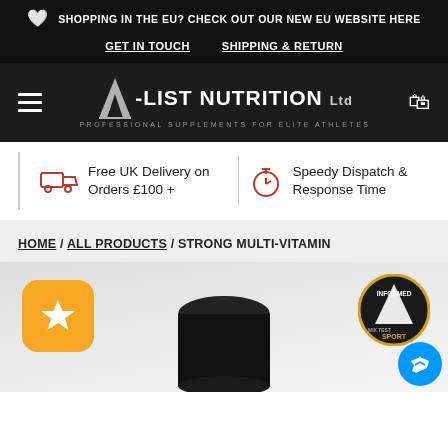SHOPPING IN THE EU? CHECK OUT OUR NEW EU WEBSITE HERE
GET IN TOUCH   SHIPPING & RETURN
[Figure (logo): A-LIST NUTRITION Ltd logo with tagline PROFESSIONAL SUPPLEMENTS FOR ELITE ATHLETES on dark background, with hamburger menu and cart icons]
Free UK Delivery on Orders £100 +
Speedy Dispatch & Response Time
HOME / ALL PRODUCTS / STRONG MULTI-VITAMIN
[Figure (photo): Product image showing a black supplement bottle cap/lid partially visible at bottom, a gold star badge top-left, and an Informed Sport badge top-right, with messenger chat icon]